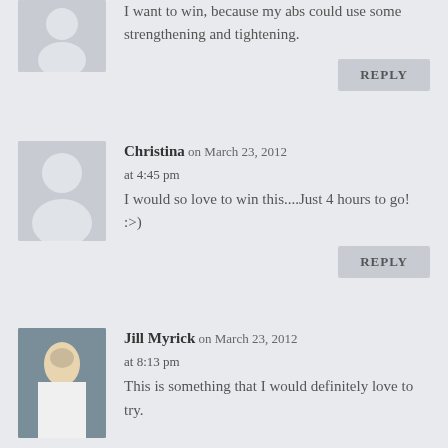I want to win, because my abs could use some strengthening and tightening.
REPLY
Christina on March 23, 2012 at 4:45 pm
I would so love to win this....Just 4 hours to go! :>)
REPLY
Jill Myrick on March 23, 2012 at 8:13 pm
This is something that I would definitely love to try.